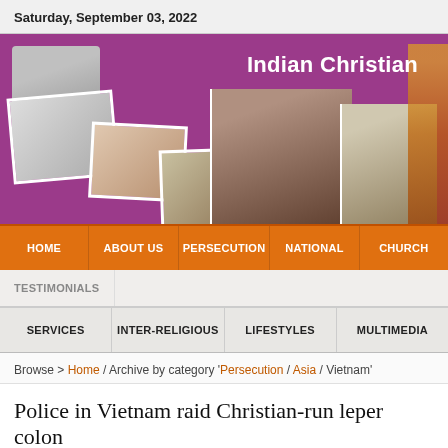Saturday, September 03, 2022
[Figure (illustration): Indian Christian website banner with purple background, showing Pope Francis waving, a collage of group photos, a Cardinal in red holding flowers, a Bishop in mitre, and the text 'Indian Christian' in white.]
HOME | ABOUT US | PERSECUTION | NATIONAL | CHURCH
TESTIMONIALS
SERVICES | INTER-RELIGIOUS | LIFESTYLES | MULTIMEDIA
Browse > Home / Archive by category 'Persecution / Asia / Vietnam'
Police in Vietnam raid Christian-run leper colon